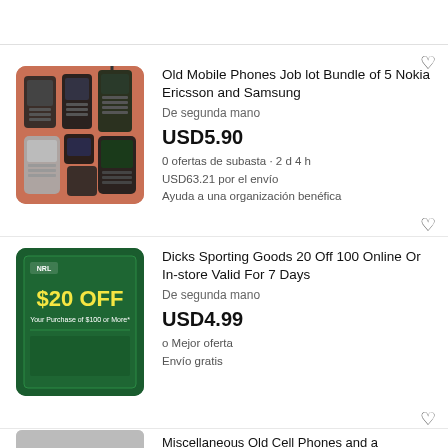[Figure (photo): Photo of 5 old mobile phones (Nokia, Ericsson, Samsung) arranged on an orange/red surface]
Old Mobile Phones Job lot Bundle of 5 Nokia Ericsson and Samsung
De segunda mano
USD5.90
0 ofertas de subasta · 2 d 4 h
USD63.21 por el envío
Ayuda a una organización benéfica
[Figure (photo): Green coupon/card showing '$20 OFF Your Purchase of $100 or More']
Dicks Sporting Goods 20 Off 100 Online Or In-store Valid For 7 Days
De segunda mano
USD4.99
o Mejor oferta
Envío gratis
Miscellaneous Old Cell Phones and a